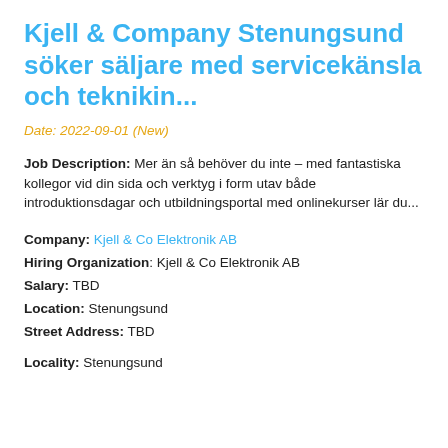Kjell & Company Stenungsund söker säljare med servicekänsla och teknikin...
Date: 2022-09-01 (New)
Job Description: Mer än så behöver du inte – med fantastiska kollegor vid din sida och verktyg i form utav både introduktionsdagar och utbildningsportal med onlinekurser lär du...
Company: Kjell & Co Elektronik AB
Hiring Organization: Kjell & Co Elektronik AB
Salary: TBD
Location: Stenungsund
Street Address: TBD
Locality: Stenungsund